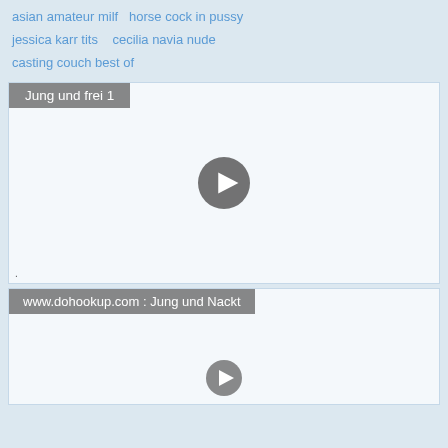asian amateur milf   horse cock in pussy
jessica karr tits   cecilia navia nude
casting couch best of
[Figure (screenshot): Video thumbnail placeholder with play button and label 'Jung und frei 1']
[Figure (screenshot): Video thumbnail placeholder with play button and label 'www.dohookup.com : Jung und Nackt']